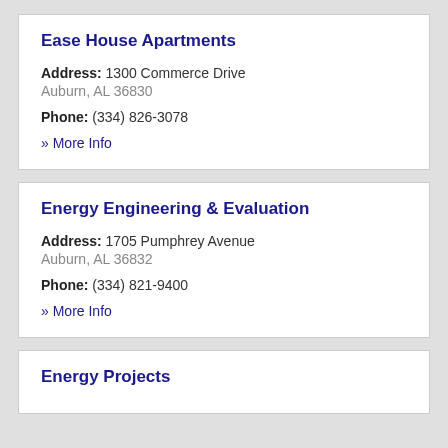Ease House Apartments
Address: 1300 Commerce Drive Auburn, AL 36830
Phone: (334) 826-3078
» More Info
Energy Engineering & Evaluation
Address: 1705 Pumphrey Avenue Auburn, AL 36832
Phone: (334) 821-9400
» More Info
Energy Projects